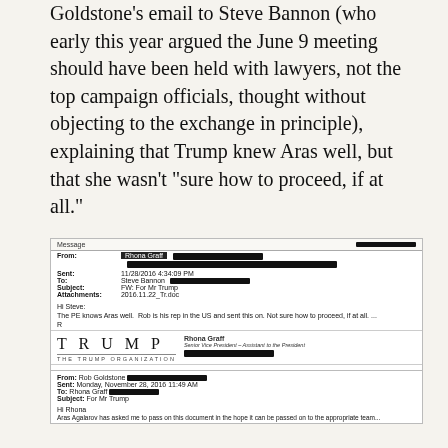Goldstone's email to Steve Bannon (who early this year argued the June 9 meeting should have been held with lawyers, not the top campaign officials, thought without objecting to the exchange in principle), explaining that Trump knew Aras well, but that she wasn't “sure how to proceed, if at all.”
[Figure (screenshot): Scanned email document showing a forwarded message from Rhona Graff to Steve Bannon dated 11/28/2016 4:34:09 PM, subject 'FW: For Mr Trump', attachment '2016.11.22_Tr.doc'. Body says 'Hi Steve, The PE knows Aras well. Rob is his rep in the US and sent this on. Not sure how to proceed, if at all.' Followed by Trump Organization letterhead signature for Rhona Graff, Senior Vice President - Assistant to the President. Below is a forwarded email from Rob Goldstone, Sent Monday, November 28, 2016 11:49 AM, To: Rhona Graff, Subject: For Mr Trump. Body: 'Hi Rhona, Aras Agalarov has asked me to pass on this document in the hope it can be passed on to the appropriate team.']